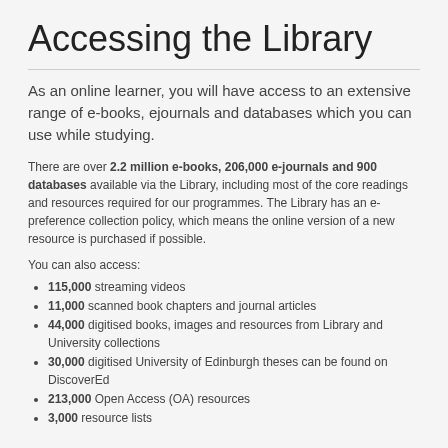Accessing the Library
As an online learner, you will have access to an extensive range of e-books, ejournals and databases which you can use while studying.
There are over 2.2 million e-books, 206,000 e-journals and 900 databases available via the Library, including most of the core readings and resources required for our programmes. The Library has an e-preference collection policy, which means the online version of a new resource is purchased if possible.
You can also access:
115,000 streaming videos
11,000 scanned book chapters and journal articles
44,000 digitised books, images and resources from Library and University collections
30,000 digitised University of Edinburgh theses can be found on DiscoverEd
213,000 Open Access (OA) resources
3,000 resource lists